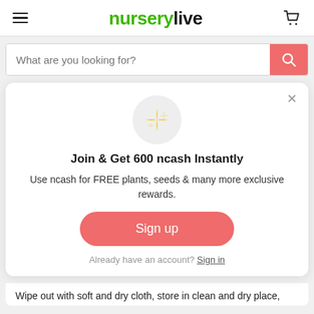[Figure (logo): nurserylive logo with hamburger menu and cart icon in header]
[Figure (screenshot): Search bar with placeholder text 'What are you looking for?' and pink search button]
[Figure (infographic): Modal popup with sparkle icon, join ncash promotion, sign up button, and sign in link]
Wipe out with soft and dry cloth, store in clean and dry place,